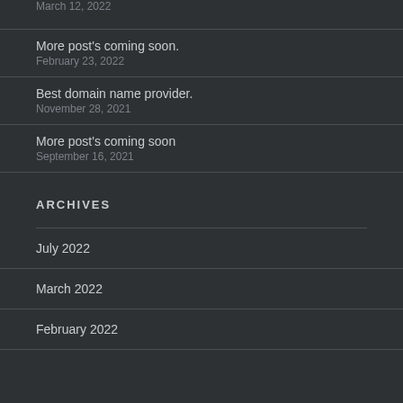March 12, 2022
More post's coming soon.
February 23, 2022
Best domain name provider.
November 28, 2021
More post's coming soon
September 16, 2021
ARCHIVES
July 2022
March 2022
February 2022